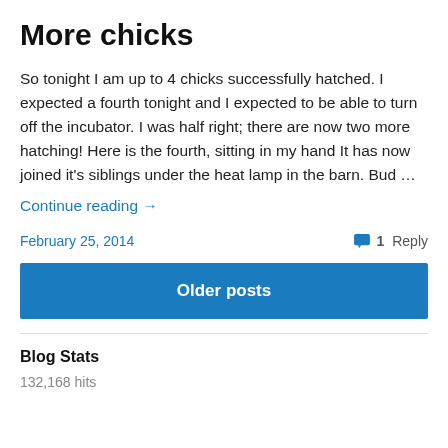More chicks
So tonight I am up to 4 chicks successfully hatched. I expected a fourth tonight and I expected to be able to turn off the incubator. I was half right; there are now two more hatching! Here is the fourth, sitting in my hand It has now joined it's siblings under the heat lamp in the barn. Bud …
Continue reading →
February 25, 2014   1 Reply
Older posts
Blog Stats
132,168 hits